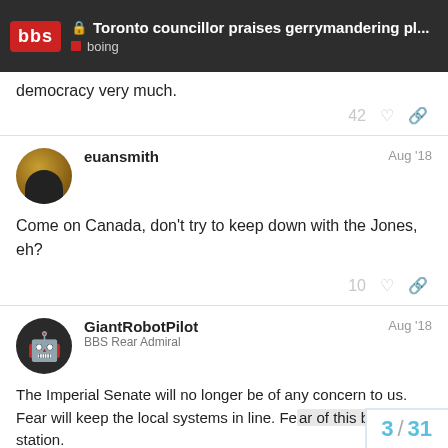Toronto councillor praises gerrymandering pl... | boing
democracy very much.
42 ♡ 🔗
euansmith   Aug '18
Come on Canada, don’t try to keep down with the Jones, eh?
10 ♡ 🔗
GiantRobotPilot   Aug '18
BBS Rear Admiral
The Imperial Senate will no longer be of any concern to us. Fear will keep the local systems in line. Fe... th... station.
3 / 31